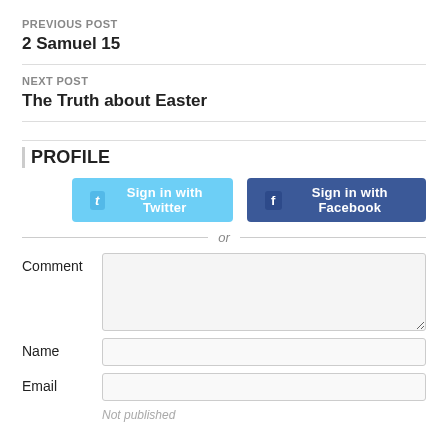PREVIOUS POST
2 Samuel 15
NEXT POST
The Truth about Easter
PROFILE
[Figure (screenshot): Sign in with Twitter button (light blue) and Sign in with Facebook button (dark blue)]
or
Comment
Name
Email
Not published